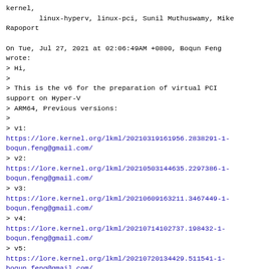kernel,
        linux-hyperv, linux-pci, Sunil Muthuswamy, Mike Rapoport

On Tue, Jul 27, 2021 at 02:06:49AM +0800, Boqun Feng wrote:
> Hi,
>
> This is the v6 for the preparation of virtual PCI support on Hyper-V
> ARM64, Previous versions:
>
> v1:
https://lore.kernel.org/lkml/20210319161956.2838291-1-boqun.feng@gmail.com/
> v2:
https://lore.kernel.org/lkml/20210503144635.2297386-1-boqun.feng@gmail.com/
> v3:
https://lore.kernel.org/lkml/20210609163211.3467449-1-boqun.feng@gmail.com/
> v4:
https://lore.kernel.org/lkml/20210714102737.198432-1-boqun.feng@gmail.com/
> v5:
https://lore.kernel.org/lkml/20210720134429.511541-1-boqun.feng@gmail.com/
>
> Changes since last version:
>
> * ... Rebase to 5.14-rc2...